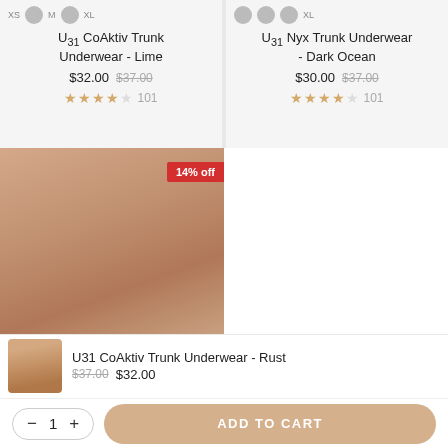XS  M  XL
U31 CoAktiv Trunk Underwear - Lime
$32.00  $37.00  ★★★★☆ 101
XL
U31 Nyx Trunk Underwear - Dark Ocean
$30.00  $37.00  ★★★★☆ 101
[Figure (photo): Product photo of man torso wearing underwear, 14% off badge in red top right]
U31 CoAktiv Trunk Underwear - Rust
$37.00  $32.00
XS  ∨
−  1  +   ADD TO CART